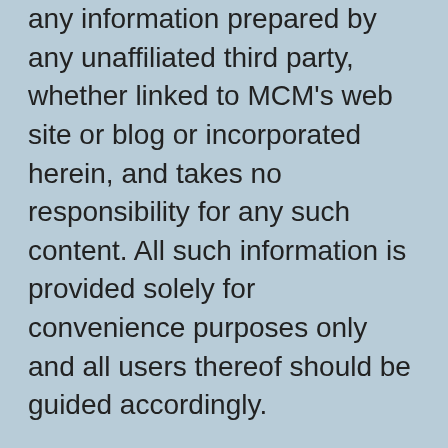any information prepared by any unaffiliated third party, whether linked to MCM's web site or blog or incorporated herein, and takes no responsibility for any such content. All such information is provided solely for convenience purposes only and all users thereof should be guided accordingly.
Please Remember: If you are a MCM client, please contact MCM, in writing, if there are any changes in your personal/financial situation or investment objectives for the purpose of reviewing/evaluating/revising our previous recommendations and/or services, or if you would like to impose, add, or to modify any reasonable restrictions to our investment advisory services. Unless, and until, you notify us, in writing, to the contrary, we shall continue to provide services as we do currently. Please Also Remember to advise us